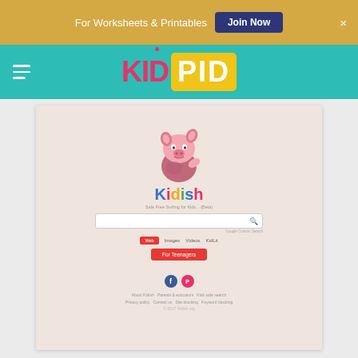For Worksheets & Printables  Join Now  ×
[Figure (logo): KidPid website logo with KID in pink and PID in white on yellow background]
[Figure (screenshot): Screenshot of Kidish kids safe search engine website featuring Piglet character, search bar, Web/Images/Videos/KidLit tabs, For Teenagers button, social media icons, and footer links]